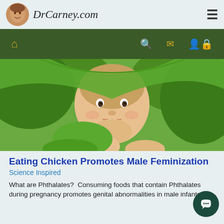DrCarney.com
[Figure (photo): Smiling baby under a green towel/blanket looking at camera]
Eating Chicken Promotes Male Feminization
Science Inspired
What are Phthalates?  Consuming foods that contain Phthalates during pregnancy promotes genital abnormalities in male infants.